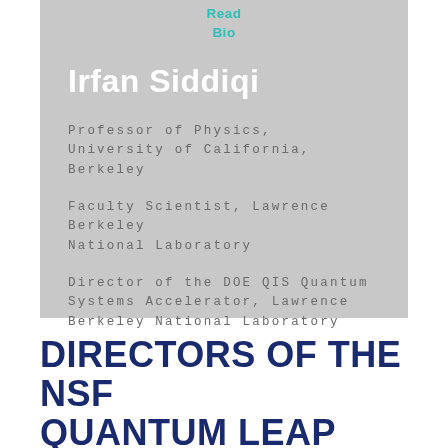Read Bio
Irfan Siddiqi
Professor of Physics, University of California, Berkeley
Faculty Scientist, Lawrence Berkeley National Laboratory
Director of the DOE QIS Quantum Systems Accelerator, Lawrence Berkeley National Laboratory
DIRECTORS OF THE NSF QUANTUM LEAP CHALLENGE INSTITUTES